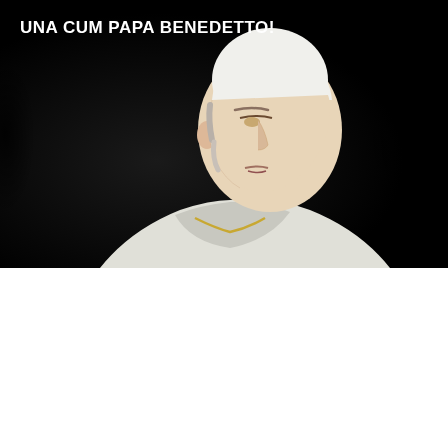UNA CUM PAPA BENEDETTO!
[Figure (photo): Black and white photograph of Pope Benedict XVI in profile, wearing white papal vestments and zucchetto, against a dark background]
We use cookies on our website to give you the most relevant experience by remembering your preferences and repeat visits. By clicking "Accept All", you consent to the use of ALL the cookies. However, you may visit "Cookie Settings" to provide a controlled consent.
Cookie Settings | Accept All